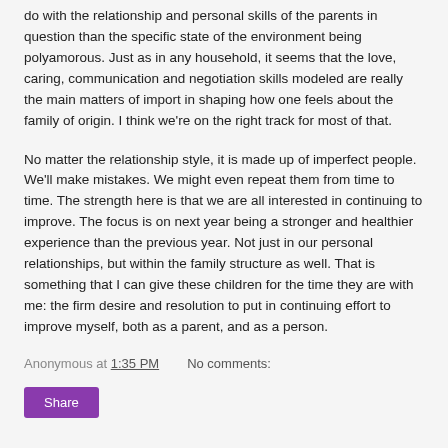do with the relationship and personal skills of the parents in question than the specific state of the environment being polyamorous. Just as in any household, it seems that the love, caring, communication and negotiation skills modeled are really the main matters of import in shaping how one feels about the family of origin. I think we're on the right track for most of that.
No matter the relationship style, it is made up of imperfect people. We'll make mistakes. We might even repeat them from time to time. The strength here is that we are all interested in continuing to improve. The focus is on next year being a stronger and healthier experience than the previous year. Not just in our personal relationships, but within the family structure as well. That is something that I can give these children for the time they are with me: the firm desire and resolution to put in continuing effort to improve myself, both as a parent, and as a person.
Anonymous at 1:35 PM    No comments: